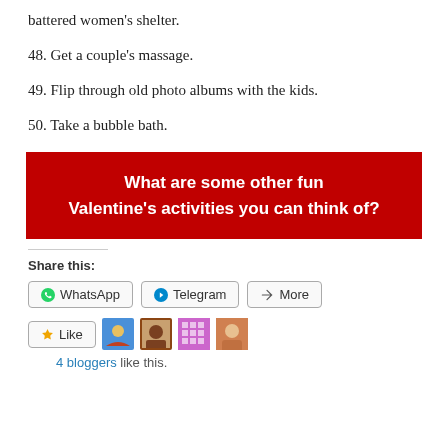battered women's shelter.
48. Get a couple's massage.
49. Flip through old photo albums with the kids.
50. Take a bubble bath.
[Figure (infographic): Red banner with white bold text: 'What are some other fun Valentine's activities you can think of?']
Share this:
WhatsApp  Telegram  More
Like
4 bloggers like this.